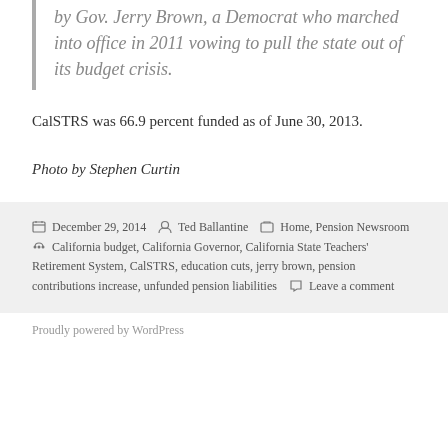by Gov. Jerry Brown, a Democrat who marched into office in 2011 vowing to pull the state out of its budget crisis.
CalSTRS was 66.9 percent funded as of June 30, 2013.
Photo by Stephen Curtin
December 29, 2014  Ted Ballantine  Home, Pension Newsroom  California budget, California Governor, California State Teachers' Retirement System, CalSTRS, education cuts, jerry brown, pension contributions increase, unfunded pension liabilities  Leave a comment
Proudly powered by WordPress